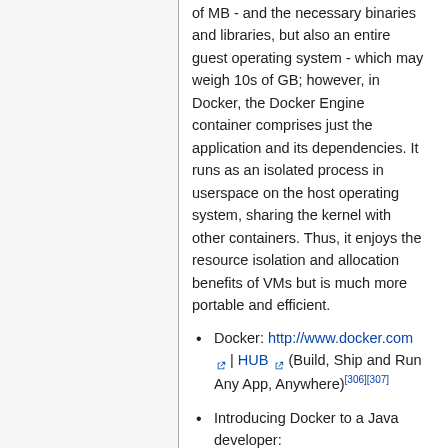of MB - and the necessary binaries and libraries, but also an entire guest operating system - which may weigh 10s of GB; however, in Docker, the Docker Engine container comprises just the application and its dependencies. It runs as an isolated process in userspace on the host operating system, sharing the kernel with other containers. Thus, it enjoys the resource isolation and allocation benefits of VMs but is much more portable and efficient.
Docker: http://www.docker.com | HUB (Build, Ship and Run Any App, Anywhere)[306][307]
Introducing Docker to a Java developer: http://www.drissamri.be/blog/continuous-delivery/introducing-docker-java-developer/